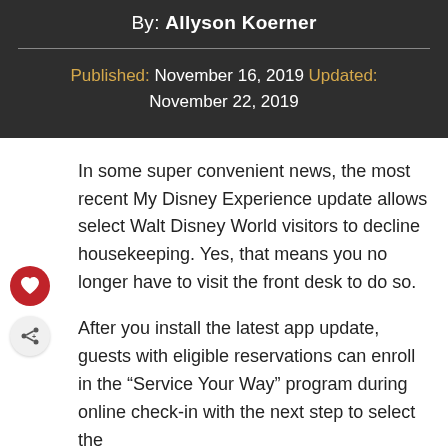By: Allyson Koerner
Published: November 16, 2019 Updated: November 22, 2019
In some super convenient news, the most recent My Disney Experience update allows select Walt Disney World visitors to decline housekeeping. Yes, that means you no longer have to visit the front desk to do so.
After you install the latest app update, guests with eligible reservations can enroll in the "Service Your Way" program during online check-in with the next step to select the…